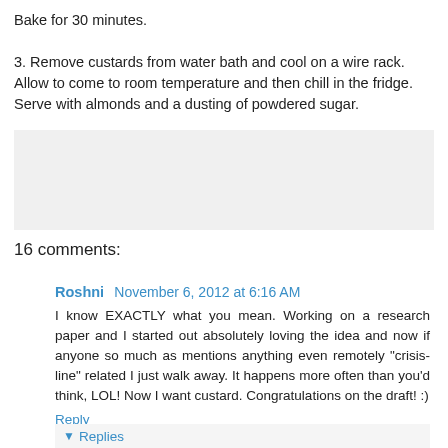Bake for 30 minutes.

3. Remove custards from water bath and cool on a wire rack. Allow to come to room temperature and then chill in the fridge. Serve with almonds and a dusting of powdered sugar.
[Figure (other): Gray advertisement/placeholder box]
16 comments:
Roshni  November 6, 2012 at 6:16 AM
I know EXACTLY what you mean. Working on a research paper and I started out absolutely loving the idea and now if anyone so much as mentions anything even remotely "crisis-line" related I just walk away. It happens more often than you'd think, LOL! Now I want custard. Congratulations on the draft! :)
Reply
▼ Replies